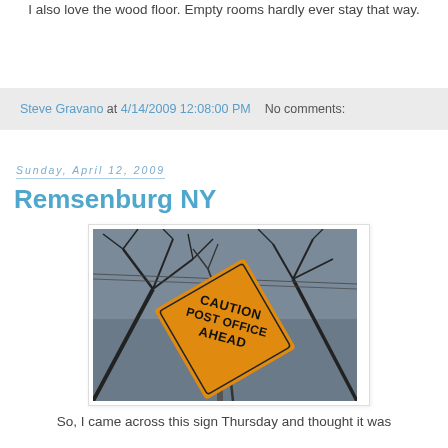I also love the wood floor. Empty rooms hardly ever stay that way.
Steve Gravano at 4/14/2009 12:08:00 PM   No comments:
Sunday, April 12, 2009
Remsenburg NY
[Figure (photo): Orange diamond-shaped caution sign reading 'CAUTION POST OFFICE AHEAD' mounted on a pole, photographed from below against bare winter tree branches and overcast sky.]
So, I came across this sign Thursday and thought it was